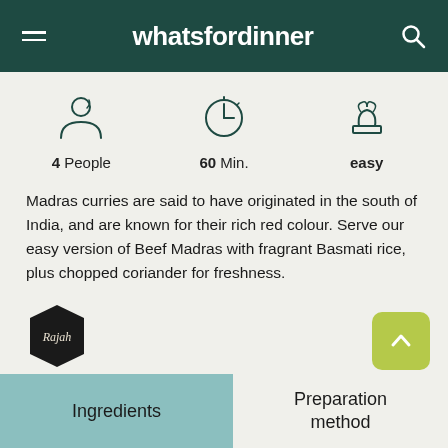whatsfordinner
[Figure (infographic): Three icons: person icon with '4 People', clock icon with '60 Min.', chef hat icon with 'easy']
Madras curries are said to have originated in the south of India, and are known for their rich red colour. Serve our easy version of Beef Madras with fragrant Basmati rice, plus chopped coriander for freshness.
[Figure (logo): Rajah brand hexagonal badge logo in dark/black]
Ingredients
Preparation method